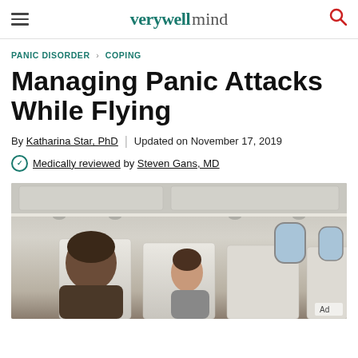verywell mind
PANIC DISORDER > COPING
Managing Panic Attacks While Flying
By Katharina Star, PhD | Updated on November 17, 2019
Medically reviewed by Steven Gans, MD
[Figure (photo): Interior of an airplane cabin with passengers seated, showing overhead panels, seat backs, and cabin windows. Two passengers are visible — a man in the foreground and a woman behind him. An 'Ad' label appears in the bottom-right corner.]